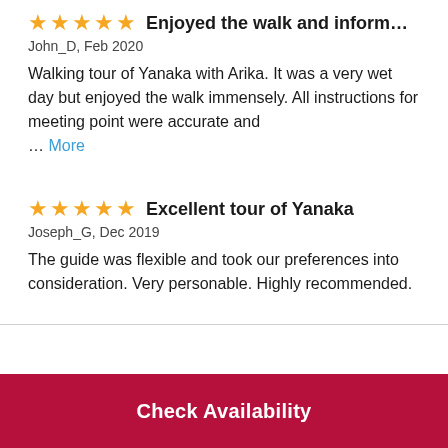Enjoyed the walk and information gi…
John_D, Feb 2020
Walking tour of Yanaka with Arika. It was a very wet day but enjoyed the walk immensely. All instructions for meeting point were accurate and … More
Excellent tour of Yanaka
Joseph_G, Dec 2019
The guide was flexible and took our preferences into consideration. Very personable. Highly recommended.
Check Availability